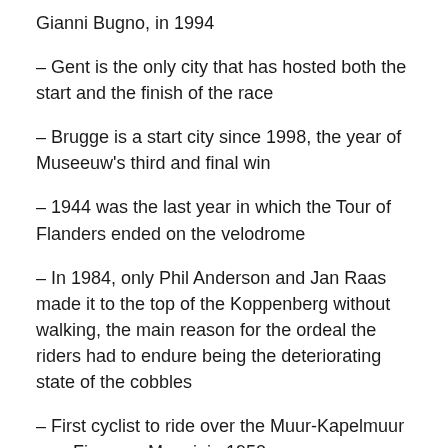Gianni Bugno, in 1994
– Gent is the only city that has hosted both the start and the finish of the race
– Brugge is a start city since 1998, the year of Museeuw's third and final win
– 1944 was the last year in which the Tour of Flanders ended on the velodrome
– In 1984, only Phil Anderson and Jan Raas made it to the top of the Koppenberg without walking, the main reason for the ordeal the riders had to endure being the deteriorating state of the cobbles
– First cyclist to ride over the Muur-Kapelmuur was Fiorenzo Magni, in 1950